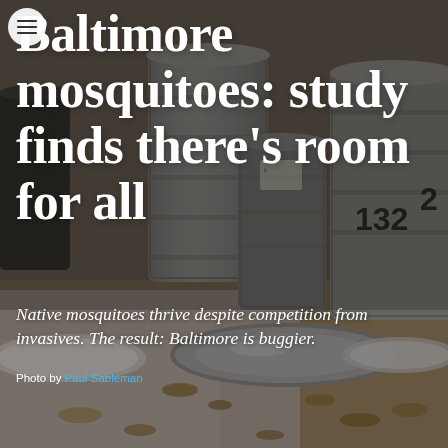[Figure (photo): Outdoor photograph of metal trash cans and lids on a concrete surface with dirt and dead leaves, serving as mosquito breeding habitat. The image shows several galvanized metal garbage cans of various sizes, including one marked '1322', along with metal lids and circular dish pans on the ground.]
Baltimore mosquitoes: study finds there's room for all
Native mosquitoes thrive despite competition from invasives. The result: Baltimore is buggier.
Photo by Paul Sableman